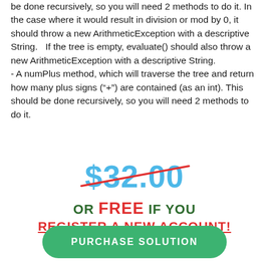be done recursively, so you will need 2 methods to do it. In the case where it would result in division or mod by 0, it should throw a new ArithmeticException with a descriptive String.   If the tree is empty, evaluate() should also throw a new ArithmeticException with a descriptive String.
- A numPlus method, which will traverse the tree and return how many plus signs ("+") are contained (as an int). This should be done recursively, so you will need 2 methods to do it.
$32.00
OR FREE IF YOU
REGISTER A NEW ACCOUNT!
PURCHASE SOLUTION